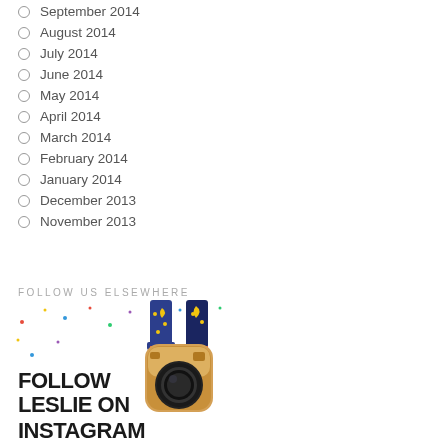September 2014
August 2014
July 2014
June 2014
May 2014
April 2014
March 2014
February 2014
January 2014
December 2013
November 2013
FOLLOW US ELSEWHERE
[Figure (illustration): Follow Leslie on Instagram promotional image with Instagram camera icon logo and decorative confetti elements]